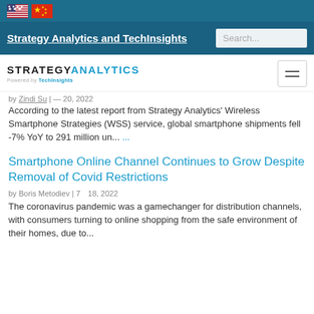[Figure (screenshot): US and China flag icons in the top navigation bar]
Strategy Analytics and TechInsights   Search...
[Figure (logo): Strategy Analytics powered by TechInsights logo with hamburger menu]
by Zindi Su | — 20, 2022 According to the latest report from Strategy Analytics' Wireless Smartphone Strategies (WSS) service, global smartphone shipments fell -7% YoY to 291 million un... ...
Smartphone Online Channel Continues to Grow Despite Removal of Covid Restrictions
by Boris Metodiev | 7  18, 2022 The coronavirus pandemic was a gamechanger for distribution channels, with consumers turning to online shopping from the safe environment of their homes, due to...